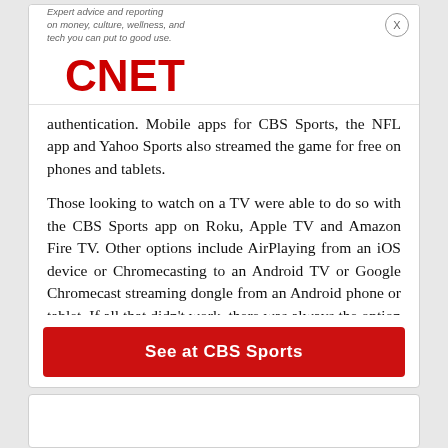[Figure (logo): CNET logo with tagline: Expert advice and reporting on money, culture, wellness, and tech you can put to good use.]
authentication. Mobile apps for CBS Sports, the NFL app and Yahoo Sports also streamed the game for free on phones and tablets.
Those looking to watch on a TV were able to do so with the CBS Sports app on Roku, Apple TV and Amazon Fire TV. Other options include AirPlaying from an iOS device or Chromecasting to an Android TV or Google Chromecast streaming dongle from an Android phone or tablet. If all that didn't work, there was always the option to plug a computer into your TV's HDMI port.
[Figure (other): Red CTA button labeled 'See at CBS Sports']